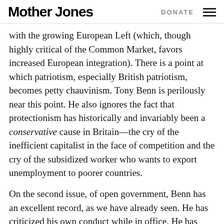Mother Jones | DONATE
with the growing European Left (which, though highly critical of the Common Market, favors increased European integration). There is a point at which patriotism, especially British patriotism, becomes petty chauvinism. Tony Benn is perilously near this point. He also ignores the fact that protectionism has historically and invariably been a conservative cause in Britain—the cry of the inefficient capitalist in the face of competition and the cry of the subsidized worker who wants to export unemployment to poorer countries.
On the second issue, of open government, Benn has an excellent record, as we have already seen. He has criticized his own conduct while in office. He has